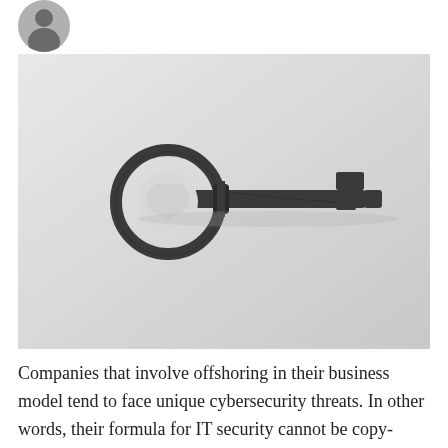[Figure (photo): Circular profile photo of a person in black and white, top-left corner]
[Figure (photo): Black and white photograph of an old ornate metal skeleton key lying on a light grey background]
Companies that involve offshoring in their business model tend to face unique cybersecurity threats. In other words, their formula for IT security cannot be copy-pasted from companies with a more traditional